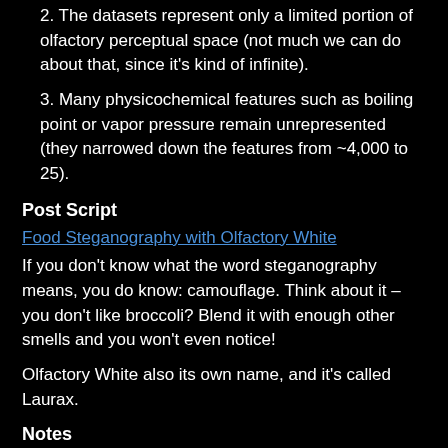2. The datasets represent only a limited portion of olfactory perceptual space (not much we can do about that, since it's kind of infinite).
3. Many physicochemical features such as boiling point or vapor pressure remain unrepresented (they narrowed down the features from ~4,000 to 25).
Post Script
Food Steganography with Olfactory White
If you don't know what the word steganography means, you do know: camouflage. Think about it – you don't like broccoli? Blend it with enough other smells and you won't even notice!
Olfactory White also its own name, and it's called Laurax.
Notes
Semantic free approach to structure-odor prediction, general perceptual primaries rather than individual odorant primaries:
Predicting odor perceptual similarity from odor structure.